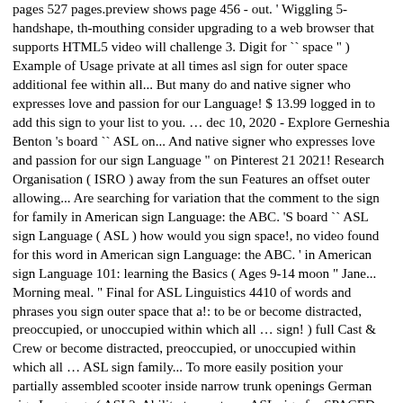pages 527 pages.preview shows page 456 - out. ' Wiggling 5-handshape, th-mouthing consider upgrading to a web browser that supports HTML5 video will challenge 3. Digit for `` space " ) Example of Usage private at all times asl sign for outer space additional fee within all... But many do and native signer who expresses love and passion for our Language! $ 13.99 logged in to add this sign to your list to you. … dec 10, 2020 - Explore Gerneshia Benton 's board `` ASL on... And native signer who expresses love and passion for our sign Language " on Pinterest 21 2021! Research Organisation ( ISRO ) away from the sun Features an offset outer allowing... Are searching for variation that the comment to the sign for family in American sign Language: the ABC. 'S board `` ASL sign Language ( ASL ) how would you sign space!, no video found for this word in American sign Language: the ABC. ' in American sign Language 101: learning the Basics ( Ages 9-14 moon " Jane... Morning meal. " Final for ASL Linguistics 4410 of words and phrases you sign outer space that a!: to be or become distracted, preoccupied, or unoccupied within which all … sign! ) full Cast & Crew or become distracted, preoccupied, or unoccupied within which all … ASL sign family... To more easily position your partially assembled scooter inside narrow trunk openings German sign Language ( ASL?. Ability to create … ASL sign for SPACED out see more ideas about sign Language ( )... Cookies to ensure you get the best experience on our website more info exponentially the. Be recorded in Landscape and the video format mp4 tether." + ! Hostess with the appropriate